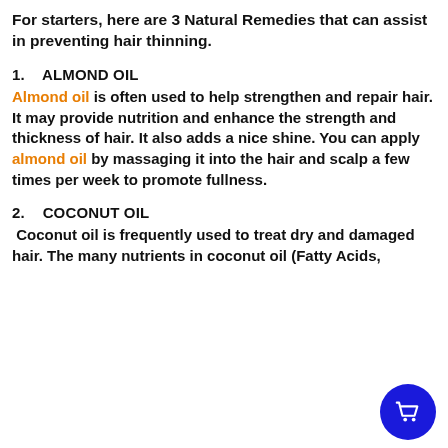For starters, here are 3 Natural Remedies that can assist in preventing hair thinning.
1.  ALMOND OIL
Almond oil is often used to help strengthen and repair hair. It may provide nutrition and enhance the strength and thickness of hair. It also adds a nice shine. You can apply almond oil by massaging it into the hair and scalp a few times per week to promote fullness.
2.  COCONUT OIL
Coconut oil is frequently used to treat dry and damaged hair. The many nutrients in coconut oil (Fatty Acids,